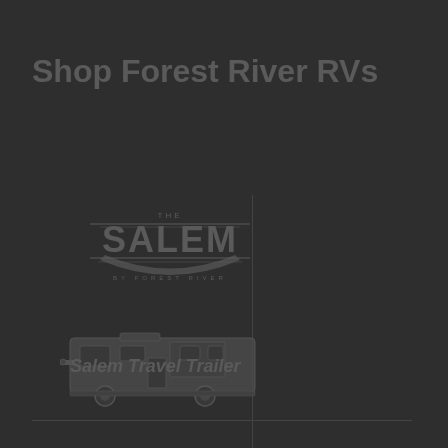Shop Forest River RVs
[Figure (logo): Salem brand logo — stylized text SALEM with decorative banner/shield emblem]
[Figure (photo): Salem Travel Trailer RV product image]
Salem Travel Trailer